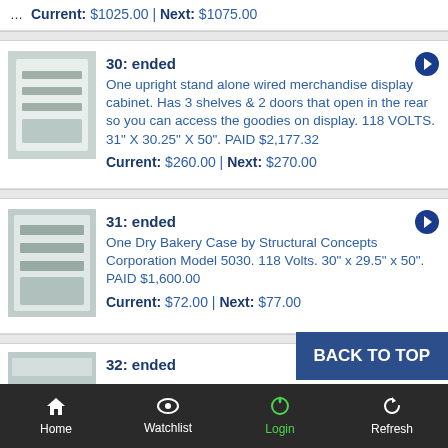Current: $1025.00 | Next: $1075.00
30: ended
One upright stand alone wired merchandise display cabinet. Has 3 shelves & 2 doors that open in the rear so you can access the goodies on display. 118 VOLTS. 31" X 30.25" X 50". PAID $2,177.32
Current: $260.00 | Next: $270.00
31: ended
One Dry Bakery Case by Structural Concepts Corporation Model 5030. 118 Volts. 30" x 29.5" x 50". PAID $1,600.00
Current: $72.00 | Next: $77.00
32: ended
Home | Watchlist | Login | Refresh